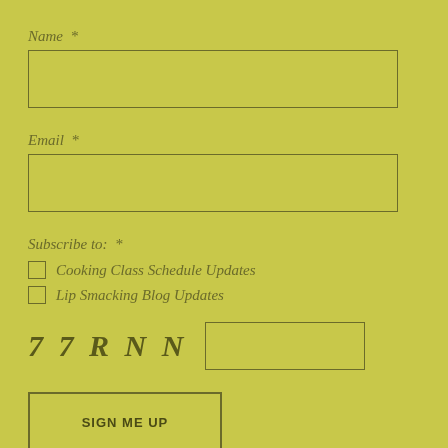Name  *
[Name input field]
Email  *
[Email input field]
Subscribe to:  *
Cooking Class Schedule Updates
Lip Smacking Blog Updates
7 7 R N N [captcha input field]
SIGN ME UP